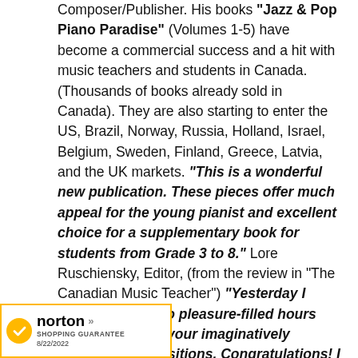Composer/Publisher. His books "Jazz & Pop Piano Paradise" (Volumes 1-5) have become a commercial success and a hit with music teachers and students in Canada. (Thousands of books already sold in Canada). They are also starting to enter the US, Brazil, Norway, Russia, Holland, Israel, Belgium, Sweden, Finland, Greece, Latvia, and the UK markets. "This is a wonderful new publication. These pieces offer much appeal for the young pianist and excellent choice for a supplementary book for students from Grade 3 to 8." Lore Ruschiensky, Editor, (from the review in "The Canadian Music Teacher") "Yesterday I spent at least two pleasure-filled hours playing through your imaginatively inventive compositions. Congratulations! I trust students will decide to program your well crafted and entertaining works on recitals and competitions." Review from Dr. Jack Behrens, B.Sc. Ph.D. (Harvard), Director of Academic
[Figure (logo): Norton Shopping Guarantee badge with checkmark logo dated 8/22/2022]